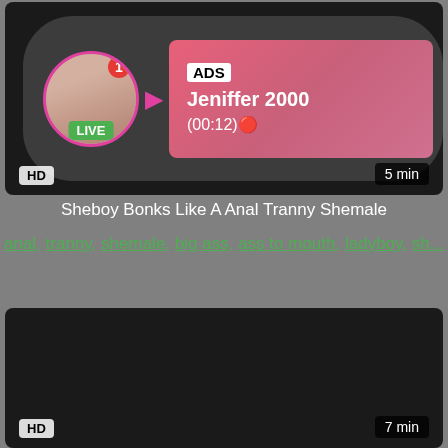[Figure (screenshot): Video thumbnail with ADS overlay showing profile picture with LIVE badge, name Jeniffer 2000, timer (00:12), HD badge, 5 min duration]
Sheboy Bonks Like A Anal Tranny Shemale
anal, tranny, shemale, big ass, ass to mouth, ladyboy, sh...
[Figure (screenshot): Dark video thumbnail with HD badge and 7 min duration label]